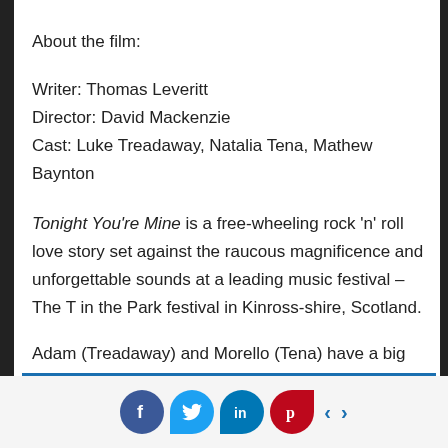About the film:
Writer: Thomas Leveritt
Director: David Mackenzie
Cast: Luke Treadaway, Natalia Tena, Mathew Baynton
Tonight You're Mine is a free-wheeling rock 'n' roll love story set against the raucous magnificence and unforgettable sounds at a leading music festival – The T in the Park festival in Kinross-shire, Scotland.
Adam (Treadaway) and Morello (Tena) have a big
[Figure (infographic): Social media sharing bar with Facebook, Twitter, LinkedIn, Pinterest icons and left/right navigation arrows]